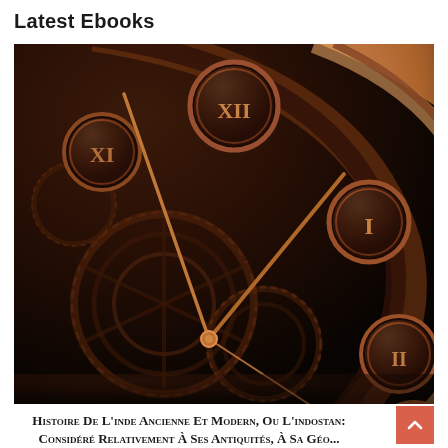Latest Ebooks
[Figure (photo): Close-up photograph of an ornate antique clock face with Roman numerals (XI, XII, I, II, III partially visible) on circular medallions, copper/bronze tones, with visible gear mechanisms and clock hands in the foreground]
Histoire De L'inde Ancienne Et Modern, Ou L'indostan: Considéré Relativement À Ses Antiquités, À Sa Géo...